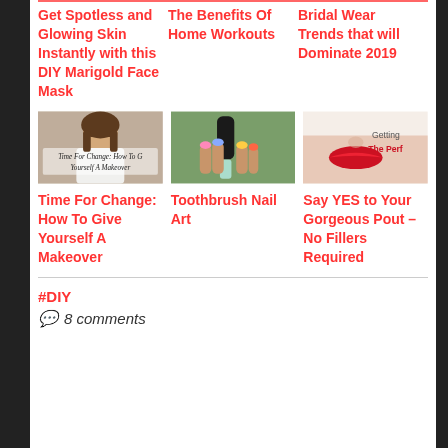Get Spotless and Glowing Skin Instantly with this DIY Marigold Face Mask
The Benefits Of Home Workouts
Bridal Wear Trends that will Dominate 2019
[Figure (photo): Woman giving herself a makeover, with text overlay 'Time For Change: How To Give Yourself A Makeover']
Time For Change: How To Give Yourself A Makeover
[Figure (photo): Hand holding a nail polish bottle with colorful nail art]
Toothbrush Nail Art
[Figure (photo): Close-up of woman with red lipstick, text 'Getting The Perf...']
Say YES to Your Gorgeous Pout – No Fillers Required
#DIY
8 comments